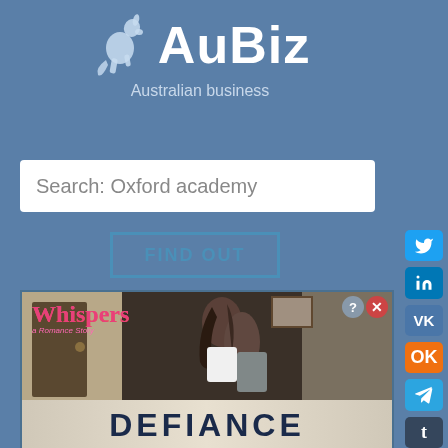[Figure (logo): AuBiz logo with kangaroo silhouette icon and text 'AuBiz' with tagline 'Australian business']
Search: Oxford academy
FIND OUT
[Figure (illustration): Advertisement for 'Whispers - a Romance Story' showing a romantic couple and the title 'DEFIANCE']
[Figure (other): Social media sidebar buttons: Twitter, LinkedIn, VK, OK, Telegram, Tumblr]